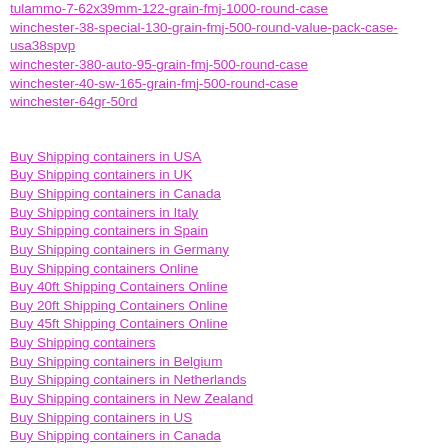tulammo-7-62x39mm-122-grain-fmj-1000-round-case
winchester-38-special-130-grain-fmj-500-round-value-pack-case-usa38spvp
winchester-380-auto-95-grain-fmj-500-round-case
winchester-40-sw-165-grain-fmj-500-round-case
winchester-64gr-50rd
Buy Shipping containers in USA
Buy Shipping containers in UK
Buy Shipping containers in Canada
Buy Shipping containers in Italy
Buy Shipping containers in Spain
Buy Shipping containers in Germany
Buy Shipping containers Online
Buy 40ft Shipping Containers Online
Buy 20ft Shipping Containers Online
Buy 45ft Shipping Containers Online
Buy Shipping containers
Buy Shipping containers in Belgium
Buy Shipping containers in Netherlands
Buy Shipping containers in New Zealand
Buy Shipping containers in US
Buy Shipping containers in Canada
Buy Shipping containers in UK
Buy Shipping containers in Australia